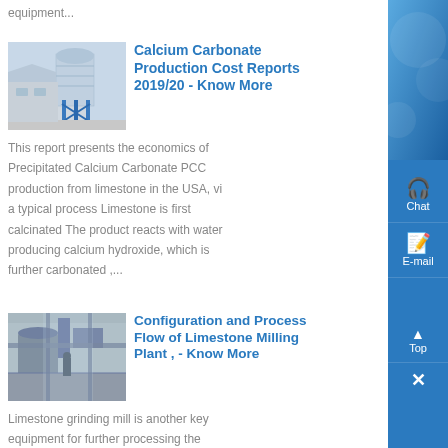equipment...
[Figure (photo): Industrial calcium carbonate production facility with blue steel silo structure]
Calcium Carbonate Production Cost Reports 2019/20 - Know More
This report presents the economics of Precipitated Calcium Carbonate PCC production from limestone in the USA, via a typical process Limestone is first calcinated The product reacts with water producing calcium hydroxide, which is further carbonated ,...
[Figure (photo): Limestone milling plant interior showing industrial grinding equipment]
Configuration and Process Flow of Limestone Milling Plant , - Know More
Limestone grinding mill is another key equipment for further processing the